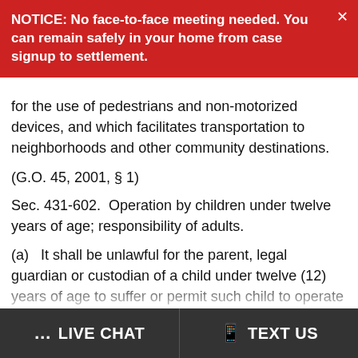NOTICE: No face-to-face meeting needed. You can remain safely in your home from case signup to settlement.
for the use of pedestrians and non-motorized devices, and which facilitates transportation to neighborhoods and other community destinations.
(G.O. 45, 2001, § 1)
Sec. 431-602.  Operation by children under twelve years of age; responsibility of adults.
(a)   It shall be unlawful for the parent, legal guardian or custodian of a child under twelve (12) years of age to suffer or permit such child to operate a bicycle in a roadway in the city while such roadway is open a
LIVE CHAT   TEXT US